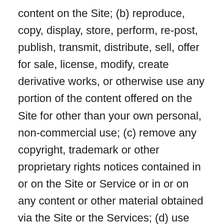content on the Site; (b) reproduce, copy, display, store, perform, re-post, publish, transmit, distribute, sell, offer for sale, license, modify, create derivative works, or otherwise use any portion of the content offered on the Site for other than your own personal, non-commercial use; (c) remove any copyright, trademark or other proprietary rights notices contained in or on the Site or Service or in or on any content or other material obtained via the Site or the Services; (d) use any robot, spider, site search/retrieval application, or other automated device, process or means to access, retrieve, scrape or index any portion of the Site or the Services, including, but not limited to, for purposes of constructing or populating a searchable database of business or property reviews; (e) collect or harvest